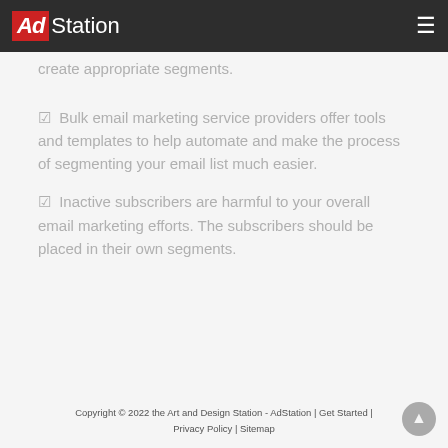AdStation
create appropriate segments.
Bulk email marketing service providers offer tools and templates to help automate and make the process of segmenting your email list much easier.
Inactive subscribers are harmful to your overall email marketing efforts. The subscribers should be placed in their own segments.
Copyright © 2022 the Art and Design Station - AdStation | Get Started | Privacy Policy | Sitemap